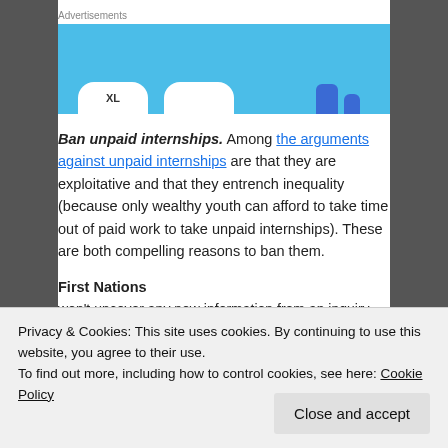Advertisements
[Figure (illustration): Blue advertisement banner with white rounded pill shapes and phone icons at the bottom]
Ban unpaid internships. Among the arguments against unpaid internships are that they are exploitative and that they entrench inequality (because only wealthy youth can afford to take time out of paid work to take unpaid internships). These are both compelling reasons to ban them.
First Nations
won't uncover any new information from an inquiry
Privacy & Cookies: This site uses cookies. By continuing to use this website, you agree to their use.
To find out more, including how to control cookies, see here: Cookie Policy